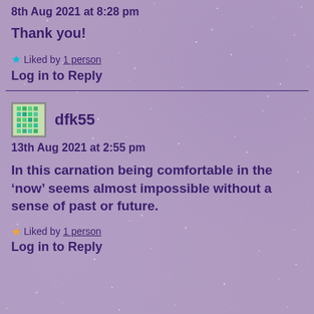8th Aug 2021 at 8:28 pm
Thank you!
Liked by 1 person
Log in to Reply
dfk55
13th Aug 2021 at 2:55 pm
In this carnation being comfortable in the ‘now’ seems almost impossible without a sense of past or future.
Liked by 1 person
Log in to Reply